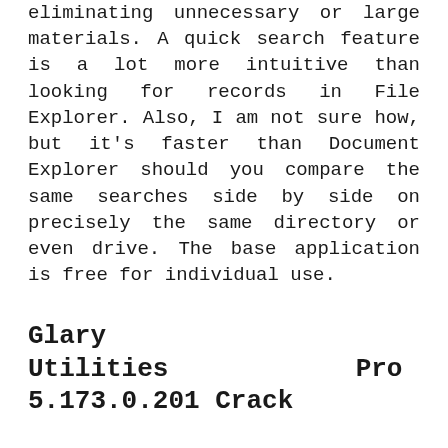eliminating unnecessary or large materials. A quick search feature is a lot more intuitive than looking for records in File Explorer. Also, I am not sure how, but it's faster than Document Explorer should you compare the same searches side by side on precisely the same directory or even drive. The base application is free for individual use.
Glary Utilities Pro 5.173.0.201 Crack
The file Splitter attribute is intriguing. Glary Utilities Pro 5.173.0.201 Crack is possible to divide and include self-rejoining performance to the directory containing the broken files which are too big to move via conventional compression methods you're